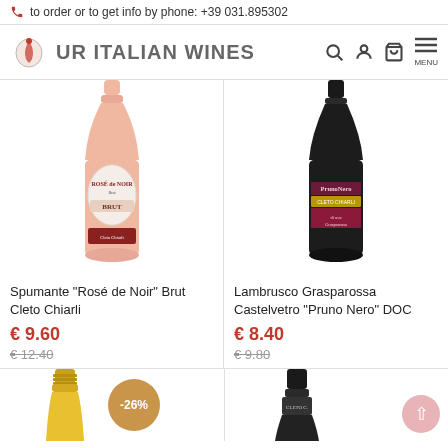📞 to order or to get info by phone: +39 031.895302
[Figure (logo): UR Italian Wines logo with wine glass icon and navigation icons (search, user, cart, menu)]
[Figure (photo): Rose sparkling wine bottle - Spumante Rosé de Noir Brut Cleto Chiarli]
Spumante "Rosé de Noir" Brut Cleto Chiarli
€ 9.60
€ 12.40
[Figure (photo): Dark wine bottle - Lambrusco Grasparossa Castelvetro Pruno Nero DOC by Cleto Chiarli]
Lambrusco Grasparossa Castelvetro "Pruno Nero" DOC
€ 8.40
€ 9.80
[Figure (photo): Bottom strip showing tops of two wine bottles and a -26% discount badge circle]
-26%